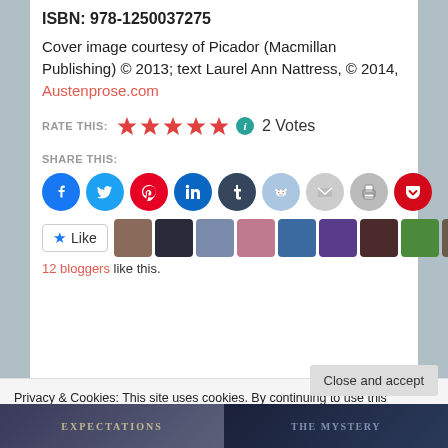ISBN: 978-1250037275
Cover image courtesy of Picador (Macmillan Publishing) © 2013; text Laurel Ann Nattress, © 2014, Austenprose.com
RATE THIS: ★★★★★ 2 Votes
SHARE THIS:
[Figure (infographic): Social sharing icons row: Facebook, Twitter, Pinterest, LinkedIn, Tumblr, Reddit, Email, Print, Pocket]
[Figure (infographic): Like button and blogger avatars strip showing 12 bloggers like this]
12 bloggers like this.
Privacy & Cookies: This site uses cookies. By continuing to use this website, you agree to their use.
To find out more, including how to control cookies, see here: Cookie Policy
Close and accept
[Figure (photo): Bottom strip showing two book cover thumbnails: EXPECTATIONS and THE MYSTERY]